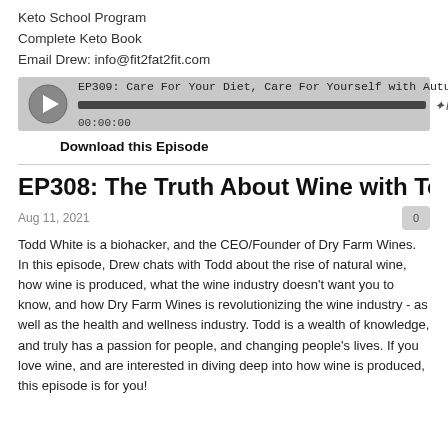Keto School Program
Complete Keto Book
Email Drew: info@fit2fat2fit.com
[Figure (screenshot): Audio player widget showing episode EP309: Care For Your Diet, Care For Yourself with Autumn... with a progress bar at full and timestamp 00:00:00, hosted by libsyn]
Download this Episode
EP308: The Truth About Wine with Todd Wh...
Aug 11, 2021
Todd White is a biohacker, and the CEO/Founder of Dry Farm Wines. In this episode, Drew chats with Todd about the rise of natural wine, how wine is produced, what the wine industry doesn't want you to know, and how Dry Farm Wines is revolutionizing the wine industry - as well as the health and wellness industry. Todd is a wealth of knowledge, and truly has a passion for people, and changing people's lives. If you love wine, and are interested in diving deep into how wine is produced, this episode is for you!